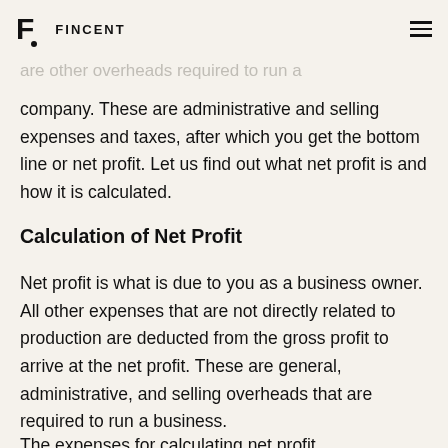FINCENT
Apart from labor and raw material costs, there are other overheads required to run a company. These are administrative and selling expenses and taxes, after which you get the bottom line or net profit. Let us find out what net profit is and how it is calculated.
Calculation of Net Profit
Net profit is what is due to you as a business owner. All other expenses that are not directly related to production are deducted from the gross profit to arrive at the net profit. These are general, administrative, and selling overheads that are required to run a business.
The expenses for calculating net profit